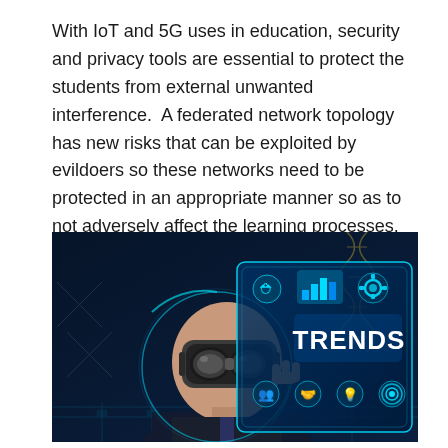With IoT and 5G uses in education, security and privacy tools are essential to protect the students from external unwanted interference.  A federated network topology has new risks that can be exploited by evildoers so these networks need to be protected in an appropriate manner so as to not adversely affect the learning processes.
[Figure (photo): A person wearing a VR headset interacting with a futuristic digital interface showing icons and the word TRENDS, set against a dark blue technology background with circuit patterns and a DNA helix.]